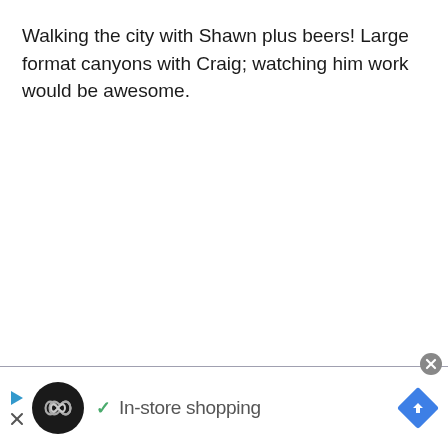Walking the city with Shawn plus beers! Large format canyons with Craig; watching him work would be awesome.
[Figure (screenshot): Advertisement bar at bottom of page with close button (X in grey circle), play and X icons on left, circular black logo with infinity symbol, green checkmark, text 'In-store shopping', and blue diamond-shaped arrow button on right]